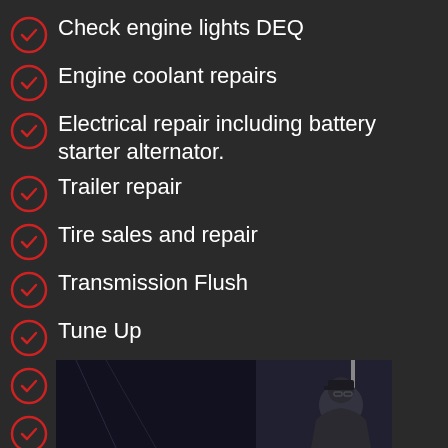Check engine lights DEQ
Engine coolant repairs
Electrical repair including battery starter alternator.
Trailer repair
Tire sales and repair
Transmission Flush
Tune Up
Steering Repairs
Suspension Work
[Figure (photo): Photo of a mechanic working on a vehicle, viewed from inside the car]